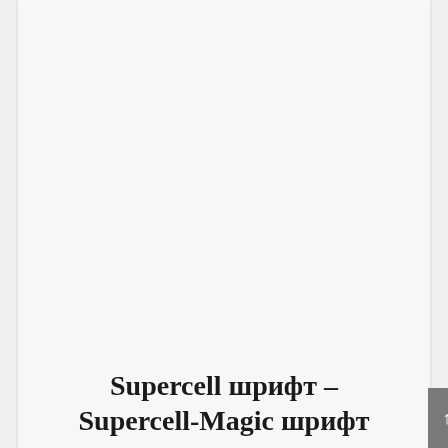Supercell шрифт – Supercell-Magic шрифт